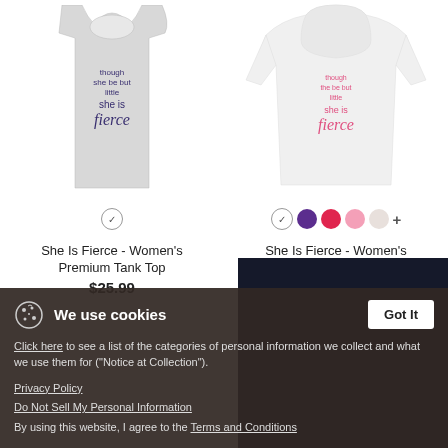[Figure (photo): Gray women's tank top with text 'though she be but little she is fierce' in dark blue/purple]
She Is Fierce - Women's Premium Tank Top
$25.99
[Figure (photo): White women's hoodie with text 'though the be but little she is fierce' in pink]
She Is Fierce - Women's Hoodie
$39.49
We use cookies
Click here to see a list of the categories of personal information we collect and what we use them for ("Notice at Collection").
Privacy Policy
Do Not Sell My Personal Information
By using this website, I agree to the Terms and Conditions